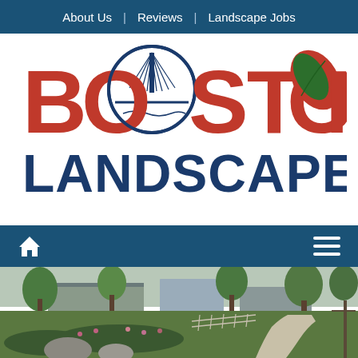About Us  |  Reviews  |  Landscape Jobs
[Figure (logo): Boston Landscape Co. logo with red BOSTON text, bridge illustration in O, green leaf in last O, and dark blue LANDSCAPE CO. text below]
[Figure (photo): Landscape photo showing a commercial property with trees, walkway, flower beds, rocks, and a modern building in the background]